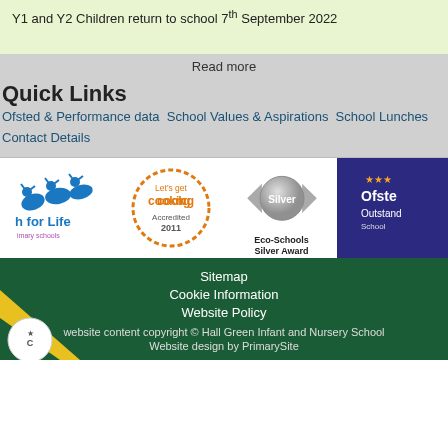Y1 and Y2 Children return to school 7th September 2022
Read more
Quick Links
Ofsted & Performance data School Values & Aspirations School Lunches Contact Details
[Figure (logo): Four logos: Fish for Life (primary schools), Let's get cooking Accredited 2011, Silver Eco-Schools Silver Award, Ofsted Outstanding School]
Sitemap
Cookie Information
Website Policy
website content copyright © Hall Green Infant and Nursery School
Website design by PrimarySite